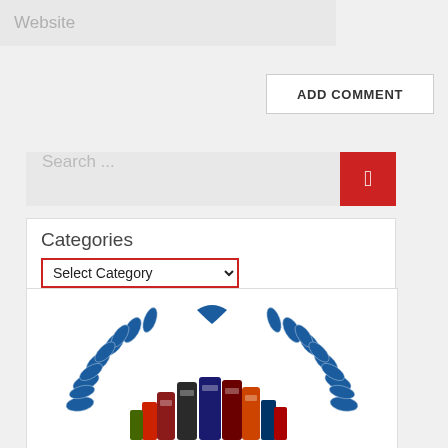Website
ADD COMMENT
Search ...
Categories
Select Category
[Figure (logo): Circular laurel wreath logo in dark blue with various supplement/nutrition product containers arranged inside at the bottom]